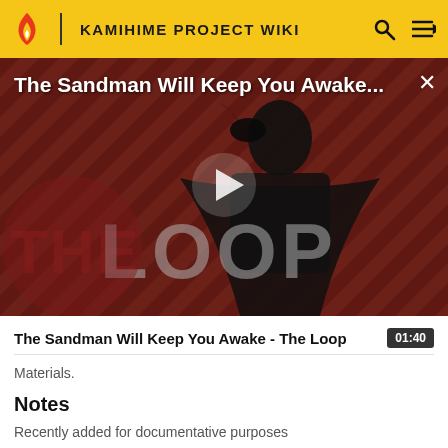KAMIHIME PROJECT WIKI
[Figure (screenshot): Video thumbnail for 'The Sandman Will Keep You Awake - The Loop' with a play button overlay. Shows a figure in black against a red diagonal striped background with 'THE LOOP' text visible. Title overlay reads 'The Sandman Will Keep You Awake...' with a close (X) button.]
The Sandman Will Keep You Awake - The Loop
Materials.
Notes
Recently added for documentative purposes